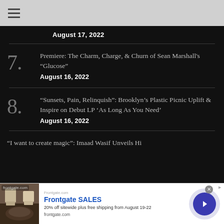≡
August 17, 2022
7. Premiere: The Charm, Charge, & Churn of Sean Marshall's "Glucose" — August 16, 2022
8. "Sunsets, Pain, Relinquish": Brooklyn's Plastic Picnic Uplift & Inspire on Debut LP 'As Long As You Need' — August 16, 2022
"I want to create magic": Imaad Wasif Unveils Hi...
[Figure (photo): Frontgate outdoor furniture advertisement with fire pit image]
Frontgate SALES
20% off sitewide plus free shipping from August 19-22
frontgate.com